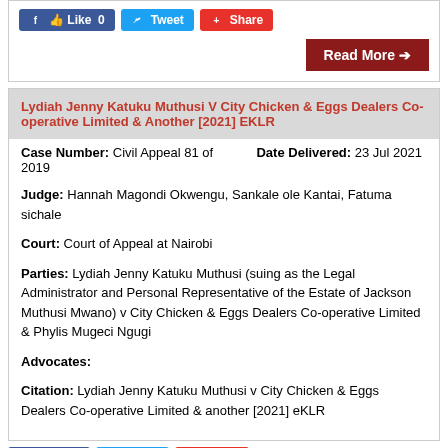[Figure (screenshot): Social media share buttons: Like 0 (Facebook), Tweet (Twitter), Share (Google+), and a Read More button in dark red]
Lydiah Jenny Katuku Muthusi V City Chicken & Eggs Dealers Co-operative Limited & Another [2021] EKLR
Case Number: Civil Appeal 81 of 2019
Date Delivered: 23 Jul 2021
Judge: Hannah Magondi Okwengu, Sankale ole Kantai, Fatuma sichale
Court: Court of Appeal at Nairobi
Parties: Lydiah Jenny Katuku Muthusi (suing as the Legal Administrator and Personal Representative of the Estate of Jackson Muthusi Mwano) v City Chicken & Eggs Dealers Co-operative Limited & Phylis Mugeci Ngugi
Advocates:
Citation: Lydiah Jenny Katuku Muthusi v City Chicken & Eggs Dealers Co-operative Limited & another [2021] eKLR
[Figure (screenshot): Social media share buttons at bottom: Like (Facebook), Tweet (Twitter), Share (Google+)]